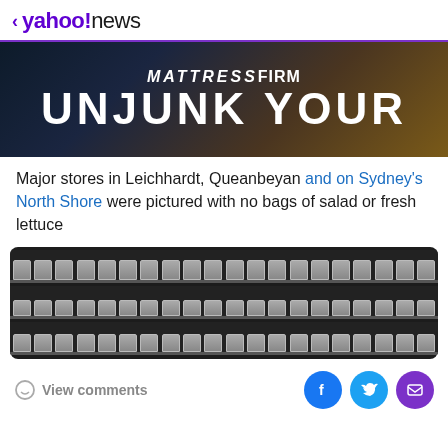< yahoo!news
[Figure (photo): Mattress Firm advertisement banner with dark background showing 'MATTRESS FIRM' logo and 'UNJUNK YOUR' text in large white bold letters]
Major stores in Leichhardt, Queanbeyan and on Sydney's North Shore were pictured with no bags of salad or fresh lettuce
[Figure (photo): Photo of empty grocery store shelves with plastic dividers and no products visible]
View comments